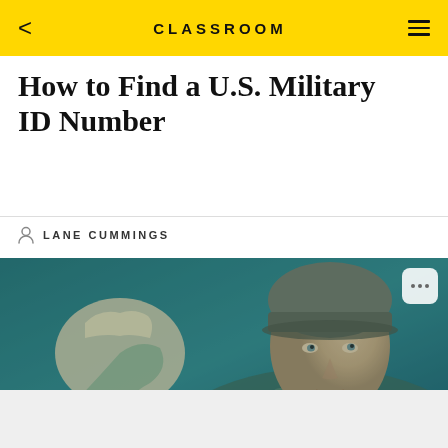CLASSROOM
How to Find a U.S. Military ID Number
LANE CUMMINGS
[Figure (photo): A military person in uniform saluting, close-up portrait with teal/blue-green background tones]
Obtaining a military ID number is a simple